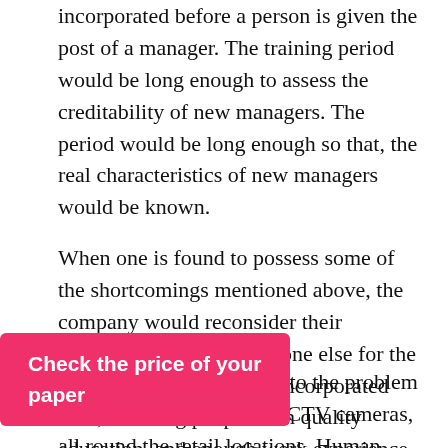incorporated before a person is given the post of a manager. The training period would be long enough to assess the creditability of new managers. The period would be long enough so that, the real characteristics of new managers would be known.
When one is found to possess some of the shortcomings mentioned above, the company would reconsider their selection and chose someone else for the post. This would also be incorporated with, selecting people with quality education, and enough work experience as outlined by the company's constitution (Cooper & Locke, 2000).
Another possible solution to the problem would be installation of CCTV cameras, all round the retail locations. Human beings work best under controlled conditions, whereby, someone is fully aware of the cameras would
Check the price of your paper